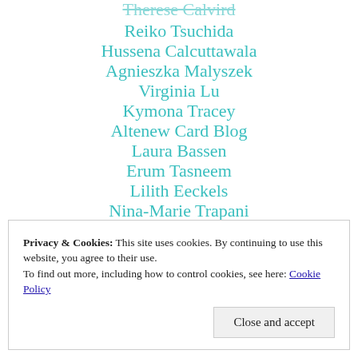Reiko Tsuchida
Hussena Calcuttawala
Agnieszka Malyszek
Virginia Lu
Kymona Tracey
Altenew Card Blog
Laura Bassen
Erum Tasneem
Lilith Eeckels
Nina-Marie Trapani
Privacy & Cookies: This site uses cookies. By continuing to use this website, you agree to their use.
To find out more, including how to control cookies, see here: Cookie Policy
Close and accept